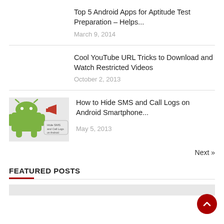Top 5 Android Apps for Aptitude Test Preparation – Helps...
March 9, 2014
Cool YouTube URL Tricks to Download and Watch Restricted Videos
October 2, 2013
[Figure (illustration): Android robot logo with a phone/SMS graphic]
How to Hide SMS and Call Logs on Android Smartphone...
May 5, 2013
Next »
FEATURED POSTS